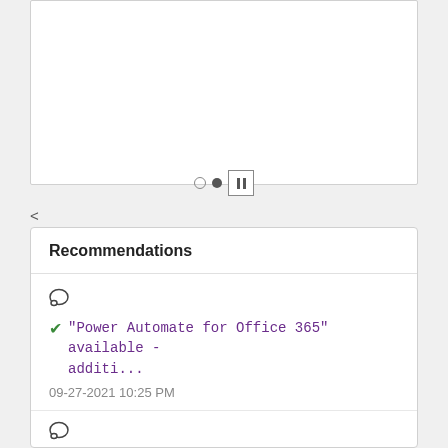[Figure (screenshot): White card panel (top portion of a carousel/slideshow) with white background, partially visible.]
< (back arrow)
Recommendations
"Power Automate for Office 365" available - additi... 09-27-2021 10:25 PM